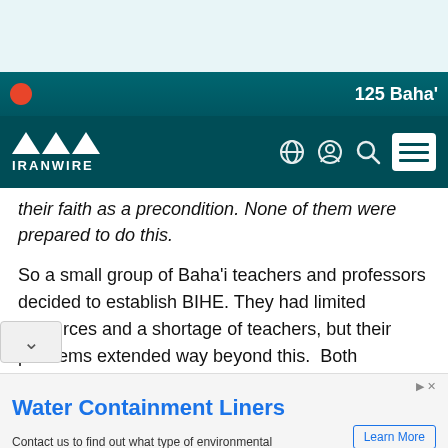125 Baha'
[Figure (logo): IranWire logo with triangle motif and navigation icons]
their faith as a precondition. None of them were prepared to do this.
So a small group of Baha'i teachers and professors decided to establish BIHE. They had limited resources and a shortage of teachers, but their problems extended way beyond this.  Both teachers and students were constantly threatened, arrested and jailed. In 1998, 11 of BIHE's teachers and other [workers] were arrested. Security forces also raided
Water Containment Liners
Contact us to find out what type of environmental